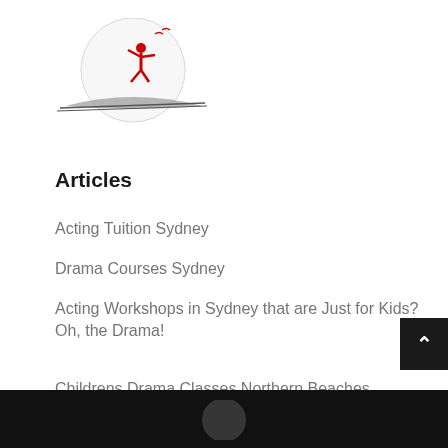[Figure (logo): Red figure on skis/surfboard with circular moon/sun background - drama/action school logo]
Articles
Acting Tuition Sydney
Drama Courses Sydney
Acting Workshops in Sydney that are Just for Kids? Oh, the Drama!
Childrens Drama Classes Northern Beaches